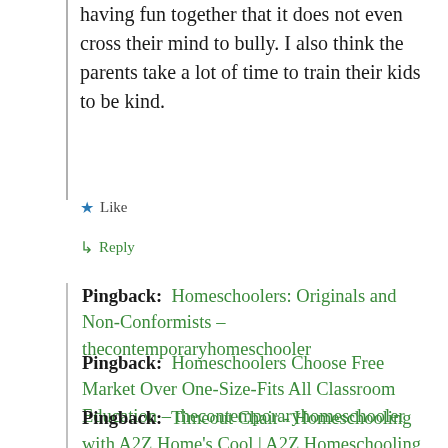having fun together that it does not even cross their mind to bully. I also think the parents take a lot of time to train their kids to be kind.
★ Like
↳ Reply
Pingback: Homeschoolers: Originals and Non-Conformists – thecontemporaryhomeschooler
Pingback: Homeschoolers Choose Free Market Over One-Size-Fits All Classroom Education – thecontemporaryhomeschooler
Pingback: Timeout Chair - Homeschooling with A2Z Home's Cool | A2Z Homeschooling